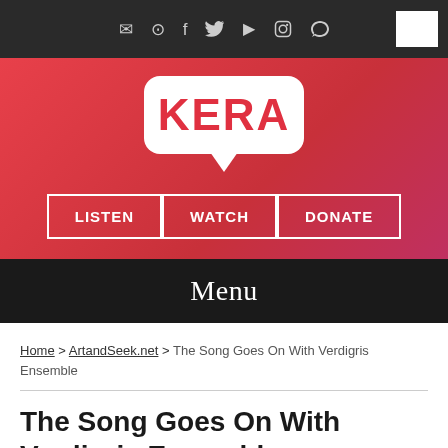[Figure (screenshot): KERA website header with dark top bar showing social media icons, red gradient background with KERA speech-bubble logo, LISTEN/WATCH/DONATE navigation buttons, and Menu bar]
Home > ArtandSeek.net > The Song Goes On With Verdigris Ensemble
The Song Goes On With Verdigris Ensemble
ARTANDSEEK.NET  May 26, 2020